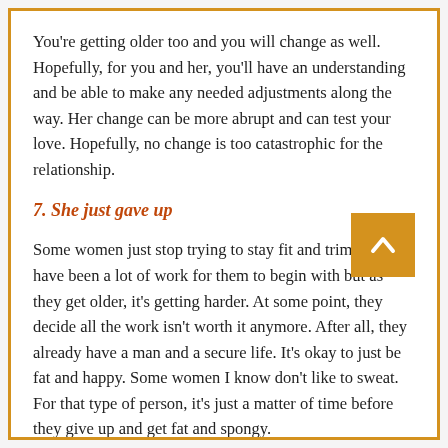You're getting older too and you will change as well. Hopefully, for you and her, you'll have an understanding and be able to make any needed adjustments along the way. Her change can be more abrupt and can test your love. Hopefully, no change is too catastrophic for the relationship.
7. She just gave up
Some women just stop trying to stay fit and trim. It may have been a lot of work for them to begin with but as they get older, it's getting harder. At some point, they decide all the work isn't worth it anymore. After all, they already have a man and a secure life. It's okay to just be fat and happy. Some women I know don't like to sweat. For that type of person, it's just a matter of time before they give up and get fat and spongy.
It may be difficult to determine why your girl has